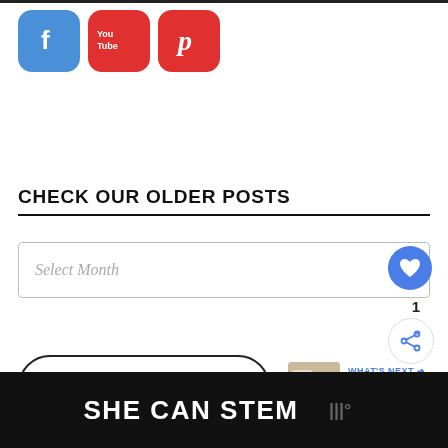[Figure (illustration): Three social media icons: Facebook (blue), YouTube (red), and Pinterest (red) as rounded square app icons]
CHECK OUR OLDER POSTS
[Figure (screenshot): Select Month dropdown input with blue heart button on right side]
1
[Figure (illustration): Share button icon (circle with arrows)]
[Figure (illustration): SHOP WITH US button with rounded border]
[Figure (infographic): WHAT'S NEXT arrow label with thumbnail image and text 'Dollar Tree Succulent...']
SHE CAN STEM